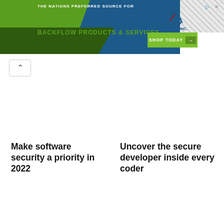[Figure (screenshot): Banner advertisement for Test Gauge Inc - The Nation's Preferred Source for Backflow Products & Services. Green and blue diagonal shapes with striped background, logo, and Shop Today button.]
Make software security a priority in 2022
Uncover the secure developer inside every coder